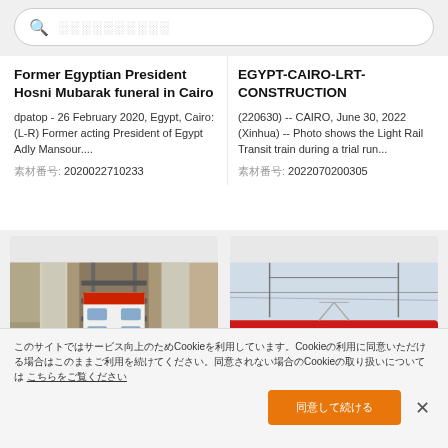🔍 ░░░░░░░░░
Former Egyptian President Hosni Mubarak funeral in Cairo
dpatop - 26 February 2020, Egypt, Cairo: (L-R) Former acting President of Egypt Adly Mansour....
素材番号: 2020022710233
EGYPT-CAIRO-LRT-CONSTRUCTION
(220630) -- CAIRO, June 30, 2022 (Xinhua) -- Photo shows the Light Rail Transit train during a trial run...
素材番号: 2022070200305
[Figure (photo): Aerial view of a train passing through a construction site in Cairo]
[Figure (photo): Light Rail Transit train, modern red and white train on tracks]
このサイトではサービス向上のためCookieを利用しています。Cookieの利用に同意いただける場合はこのままご利用を続けてください。同意されない場合のCookieの取り扱いについては こちらをご覧ください
同意して続ける